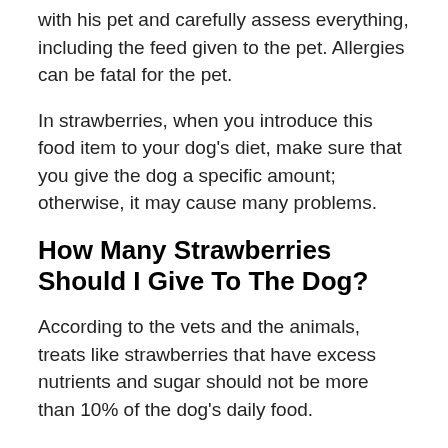with his pet and carefully assess everything, including the feed given to the pet. Allergies can be fatal for the pet.
In strawberries, when you introduce this food item to your dog's diet, make sure that you give the dog a specific amount; otherwise, it may cause many problems.
How Many Strawberries Should I Give To The Dog?
According to the vets and the animals, treats like strawberries that have excess nutrients and sugar should not be more than 10% of the dog's daily food.
An average French bulldog needs 600-700 calories of food daily; an average French bulldog means a dog weighing around 25 pounds. Keeping this number of calories in mind, you mustn't give the dog more than 60